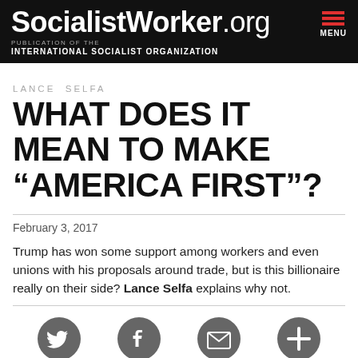SocialistWorker.org | PUBLICATION OF THE INTERNATIONAL SOCIALIST ORGANIZATION | MENU
LANCE SELFA
WHAT DOES IT MEAN TO MAKE “AMERICA FIRST”?
February 3, 2017
Trump has won some support among workers and even unions with his proposals around trade, but is this billionaire really on their side? Lance Selfa explains why not.
[Figure (infographic): Four social media sharing icons in dark gray circles: Twitter bird, Facebook f, email envelope, and a plus/add icon]